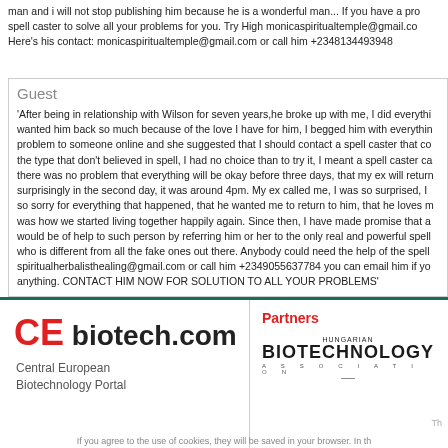man and i will not stop publishing him because he is a wonderful man... If you have a problem and you are looking for a real and genuine spell caster to solve all your problems for you. Try High monicaspiritualtemple@gmail.com Here's his contact: monicaspiritualtemple@gmail.com or call him +2348134493948
Guest
'After being in relationship with Wilson for seven years,he broke up with me, I did everything possible to bring him back but all was in vain, I wanted him back so much because of the love I have for him, I begged him with everything, I made promises but he refused. I explained my problem to someone online and she suggested that I should contact a spell caster that could help me cast a spell to bring him back but I was the type that don't believed in spell, I had no choice than to try it, I meant a spell caster called Dr Ijebu and I email him, and he told me there was no problem that everything will be okay before three days, that my ex will return to me before three days. He cast the spell and surprisingly in the second day, it was around 4pm. My ex called me, I was so surprised, I answered the call and all he said was that he was so sorry for everything that happened, that he wanted me to return to him, that he loves me so much. I was so happy and went to him, that was how we started living together happily again. Since then, I have made promise that anybody I know that have a relationship problem, I would be of help to such person by referring him or her to the only real and powerful spell caster who have helped me with my own problem and who is different from all the fake ones out there. Anybody could need the help of the spell caster, his email: spiritualherbalisthealing@gmail.com or call him +2349055637784 you can email him if you need his assistance in your relationship or anything. CONTACT HIM NOW FOR SOLUTION TO ALL YOUR PROBLEMS'
[Figure (logo): CE biotech.com logo - Central European Biotechnology Portal]
Partners
[Figure (logo): Hungarian Biotechnology Association logo and partner shield logo]
If you agree to the use of cookies, they will be saved in your browser. In th